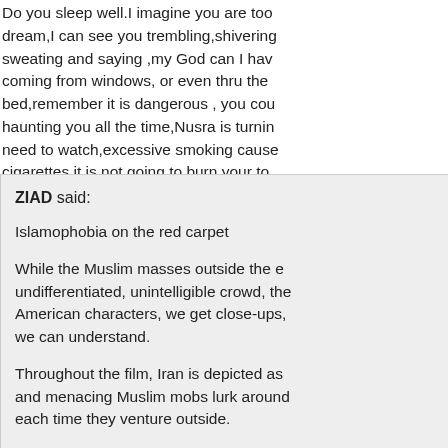Do you sleep well.I imagine you are too dream,I can see you trembling,shivering sweating and saying ,my God can I hav coming from windows, or even thru the bed,remember it is dangerous , you cou haunting you all the time,Nusra is turnin need to watch,excessive smoking cause cigarettes,it is not going to burn your to
February 28th, 2013, 12:47 pm
ZIAD said:
Islamophobia on the red carpet
While the Muslim masses outside the e undifferentiated, unintelligible crowd, the American characters, we get close-ups, we can understand.
Throughout the film, Iran is depicted as and menacing Muslim mobs lurk around each time they venture outside.
The film is particularly selective in using others. The token "Good Muslim," a you ambassador where the American chara dialogue. When Americans speak Farsi political chants and banners that might b crowds almost never are.
http://socialistworker.org/2013/02/27/isla